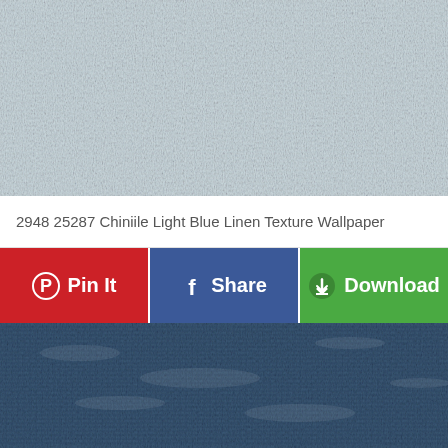[Figure (photo): Light blue/gray linen texture wallpaper swatch — woven fabric surface with subtle horizontal and vertical thread pattern in pale gray-blue tones]
2948 25287 Chiniile Light Blue Linen Texture Wallpaper
[Figure (infographic): Three social/action buttons: Pin It (red, Pinterest icon), Share (blue, Facebook icon), Download (green, download icon)]
[Figure (photo): Dark blue denim/linen texture wallpaper swatch — woven fabric surface with mottled medium-dark blue tones and subtle white thread highlights]